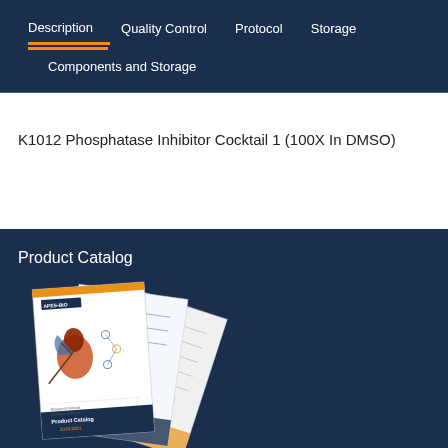Description | Quality Control | Protocol | Storage | Components and Storage
K1012 Phosphatase Inhibitor Cocktail 1 (100X In DMSO)
Product Catalog
[Figure (photo): Product Catalog booklet showing multiple pages fanned out, featuring a colorful bird illustration on the cover and text 'Product Catalog 2019-2021']